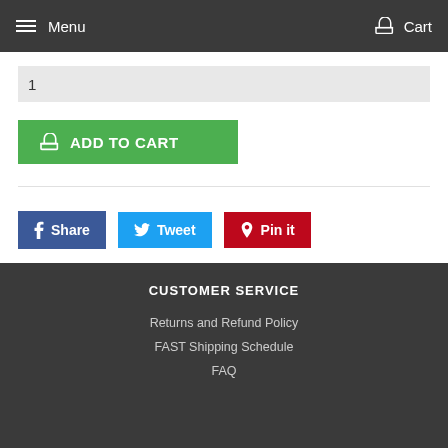Menu  Cart
1
ADD TO CART
Share  Tweet  Pin it
CUSTOMER SERVICE
Returns and Refund Policy
FAST Shipping Schedule
FAQ